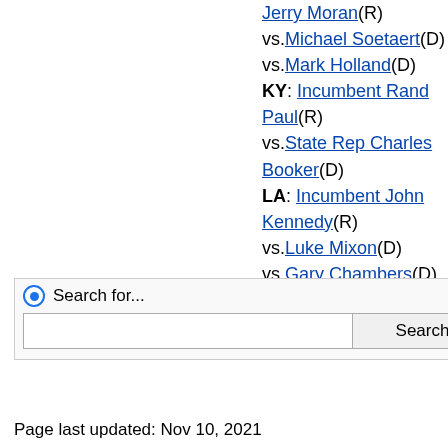Jerry Moran(R) vs. Michael Soetaert(D) vs. Mark Holland(D) KY: Incumbent Rand Paul(R) vs. State Rep Charles Booker(D) LA: Incumbent John Kennedy(R) vs. Luke Mixon(D) vs. Gary Chambers(D)
[Figure (screenshot): Search widget with radio button labeled 'Search for...', a text input field, and a Search button]
Page last updated: Nov 10, 2021